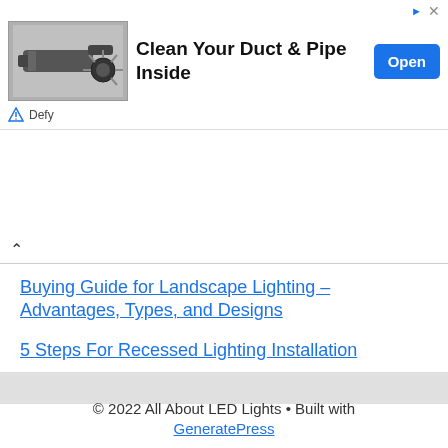[Figure (screenshot): Advertisement banner showing a duct cleaning device image with text 'Clean Your Duct & Pipe Inside', an Open button, and Defy brand logo]
Buying Guide for Landscape Lighting – Advantages, Types, and Designs
5 Steps For Recessed Lighting Installation
© 2022 All About LED Lights • Built with GeneratePress